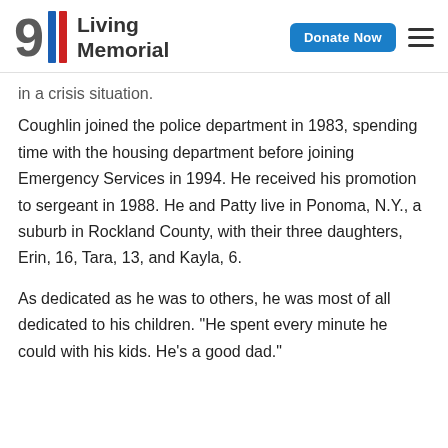911 Living Memorial | Donate Now
in a crisis situation.
Coughlin joined the police department in 1983, spending time with the housing department before joining Emergency Services in 1994. He received his promotion to sergeant in 1988. He and Patty live in Ponoma, N.Y., a suburb in Rockland County, with their three daughters, Erin, 16, Tara, 13, and Kayla, 6.
As dedicated as he was to others, he was most of all dedicated to his children. "He spent every minute he could with his kids. He's a good dad."